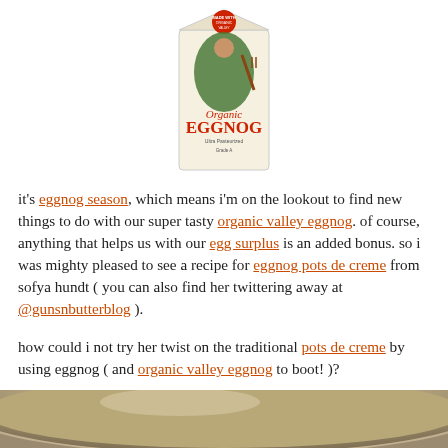[Figure (photo): Organic Eggnog carton from Organic Valley, showing a vintage-style illustration of a woman in green dress with a pitchfork, with text 'Organic EGGNOG Ultra Pasteurized']
it's eggnog season, which means i'm on the lookout to find new things to do with our super tasty organic valley eggnog. of course, anything that helps us with our egg surplus is an added bonus. so i was mighty pleased to see a recipe for eggnog pots de creme from sofya hundt ( you can also find her twittering away at @gunsnbutterblog ).
how could i not try her twist on the traditional pots de creme by using eggnog ( and organic valley eggnog to boot! )?
[Figure (photo): Close-up photo of the rim of a ceramic or metal bowl/ramekin, tan/beige colored, shot from above at an angle showing the curved edge]